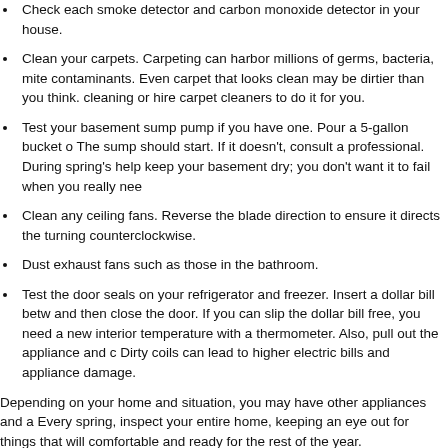Check each smoke detector and carbon monoxide detector in your house.
Clean your carpets. Carpeting can harbor millions of germs, bacteria, mite contaminants. Even carpet that looks clean may be dirtier than you think. cleaning or hire carpet cleaners to do it for you.
Test your basement sump pump if you have one. Pour a 5-gallon bucket o The sump should start. If it doesn't, consult a professional. During spring's help keep your basement dry; you don't want it to fail when you really nee
Clean any ceiling fans. Reverse the blade direction to ensure it directs the turning counterclockwise.
Dust exhaust fans such as those in the bathroom.
Test the door seals on your refrigerator and freezer. Insert a dollar bill betw and then close the door. If you can slip the dollar bill free, you need a new interior temperature with a thermometer. Also, pull out the appliance and c Dirty coils can lead to higher electric bills and appliance damage.
Depending on your home and situation, you may have other appliances and a Every spring, inspect your entire home, keeping an eye out for things that will comfortable and ready for the rest of the year.
Comments are closed.